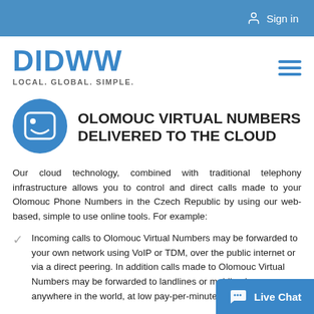Sign in
[Figure (logo): DIDWW logo with tagline LOCAL. GLOBAL. SIMPLE.]
OLOMOUC VIRTUAL NUMBERS DELIVERED TO THE CLOUD
Our cloud technology, combined with traditional telephony infrastructure allows you to control and direct calls made to your Olomouc Phone Numbers in the Czech Republic by using our web-based, simple to use online tools. For example:
Incoming calls to Olomouc Virtual Numbers may be forwarded to your own network using VoIP or TDM, over the public internet or via a direct peering. In addition calls made to Olomouc Virtual Numbers may be forwarded to landlines or mobile phones anywhere in the world, at low pay-per-minute rates.